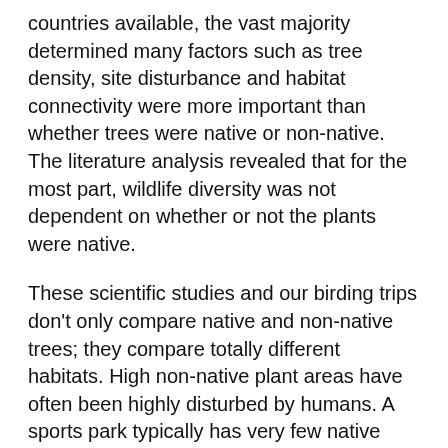countries available, the vast majority determined many factors such as tree density, site disturbance and habitat connectivity were more important than whether trees were native or non-native. The literature analysis revealed that for the most part, wildlife diversity was not dependent on whether or not the plants were native.
These scientific studies and our birding trips don't only compare native and non-native trees; they compare totally different habitats. High non-native plant areas have often been highly disturbed by humans. A sports park typically has very few native species, while a remnant forest typically has a relatively high percentage of native trees